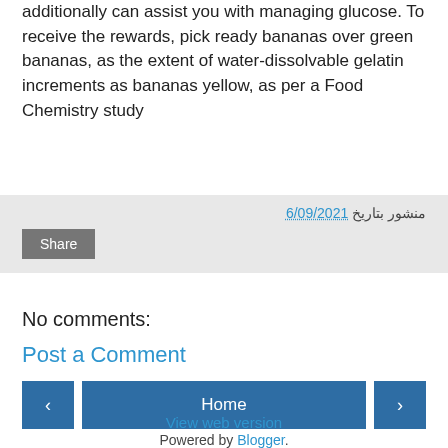additionally can assist you with managing glucose. To receive the rewards, pick ready bananas over green bananas, as the extent of water-dissolvable gelatin increments as bananas yellow, as per a Food Chemistry study
منشور بتاريخ 6/09/2021
Share
No comments:
Post a Comment
‹
Home
›
View web version
Powered by Blogger.